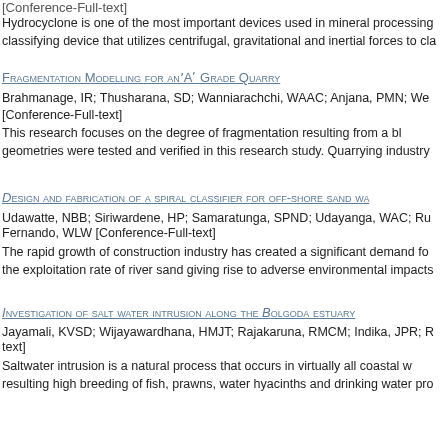[Conference-Full-text]
Hydrocyclone is one of the most important devices used in mineral processing classifying device that utilizes centrifugal, gravitational and inertial forces to cla
FRAGMENTATION MODELLING FOR AN'A' GRADE QUARRY
Brahmanage, IR; Thusharana, SD; Wanniarachchi, WAAC; Anjana, PMN; We
[Conference-Full-text]
This research focuses on the degree of fragmentation resulting from a bl geometries were tested and verified in this research study. Quarrying industry
DESIGN AND FABRICATION OF A SPIRAL CLASSIFIER FOR OFF-SHORE SAND WA
Udawatte, NBB; Siriwardene, HP; Samaratunga, SPND; Udayanga, WAC; Ru Fernando, WLW [Conference-Full-text]
The rapid growth of construction industry has created a significant demand fo the exploitation rate of river sand giving rise to adverse environmental impacts
INVESTIGATION OF SALT WATER INTRUSION ALONG THE BOLGODA ESTUARY
Jayamali, KVSD; Wijayawardhana, HMJT; Rajakaruna, RMCM; Indika, JPR; R text]
Saltwater intrusion is a natural process that occurs in virtually all coastal w resulting high breeding of fish, prawns, water hyacinths and drinking water pro